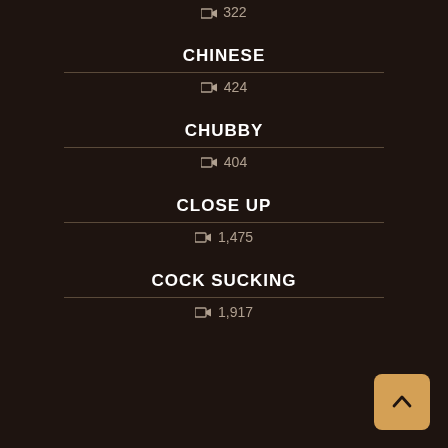322
CHINESE
424
CHUBBY
404
CLOSE UP
1,475
COCK SUCKING
1,917